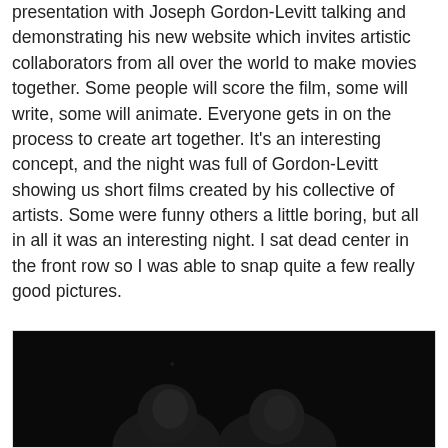presentation with Joseph Gordon-Levitt talking and demonstrating his new website which invites artistic collaborators from all over the world to make movies together. Some people will score the film, some will write, some will animate. Everyone gets in on the process to create art together. It's an interesting concept, and the night was full of Gordon-Levitt showing us short films created by his collective of artists. Some were funny others a little boring, but all in all it was an interesting night. I sat dead center in the front row so I was able to snap quite a few really good pictures.
[Figure (photo): Dark photograph showing a person (likely Joseph Gordon-Levitt) in low-light conditions, mostly dark background with faint facial features visible in the lower portion of the image.]